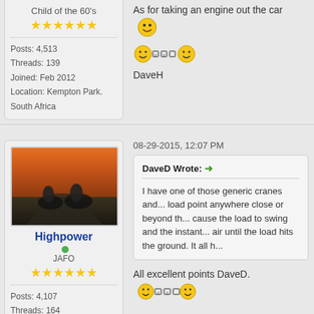Child of the 60's
[Figure (other): Star rating (5 stars)]
Posts: 4,513
Threads: 139
Joined: Feb 2012
Location: Kempton Park. South Africa
As for taking an engine out the car
[Figure (other): Smiley face emoji chain]
DaveH
[Figure (photo): Profile photo of motorcyclists]
Highpower
JAFO
[Figure (other): Star rating (5 stars)]
Posts: 4,107
Threads: 164
Joined: Feb 2012
Location: Missouri, USA
08-29-2015, 12:07 PM
DaveD Wrote:
I have one of those generic cranes and... load point anywhere close or beyond th... cause the load to swing and the instant... air until the load hits the ground. It all h...
All excellent points DaveD.
The following 3 users
Like Highpower's post: